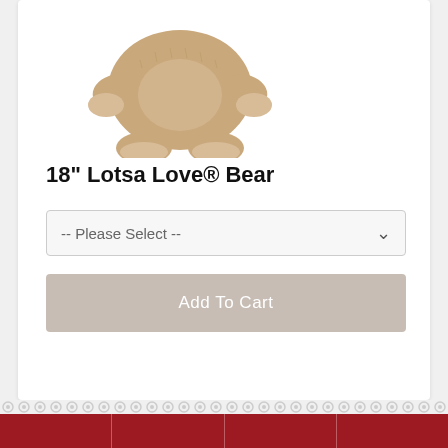[Figure (photo): Partial view of a tan/beige teddy bear plush toy (18-inch Lotsa Love Bear) - lower body, arms, and feet visible against white background]
18" Lotsa Love® Bear
-- Please Select --
Add To Cart
[Figure (infographic): Red footer navigation bar with four icon links: About Us (people icon), Photo Gallery (image icon), FAQs (question mark circle icon), Contact Us (chat bubble icon)]
[Figure (infographic): Payment method icons row showing credit card logos (Visa, Mastercard, and another card)]